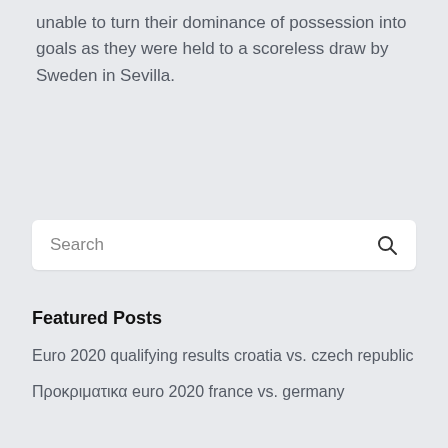unable to turn their dominance of possession into goals as they were held to a scoreless draw by Sweden in Sevilla.
[Figure (screenshot): Search bar with magnifying glass icon on light gray background]
Featured Posts
Euro 2020 qualifying results croatia vs. czech republic
Προκριματικα euro 2020 france vs. germany